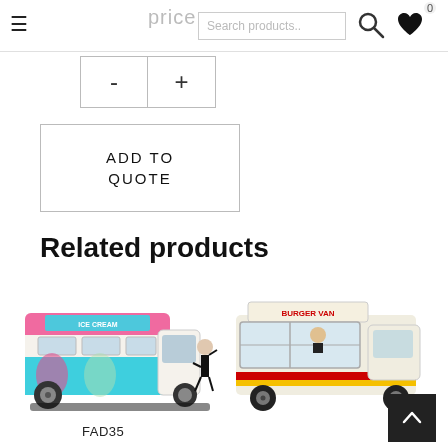price  Search products..  ☰  🔍  ♥  0
- +
ADD TO QUOTE
Related products
[Figure (photo): Ice cream van with a person standing next to it waving, pink and blue livery with ICE CREAM text]
FAD35
[Figure (photo): Cream-colored burger van with red and yellow stripe, BURGER VAN text on top, person visible in serving window]